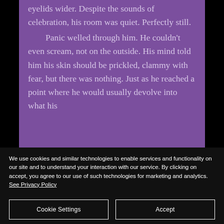eyelids wider. Despite the sounds of celebration, his room was quiet. Perfectly still.

    Panic welled through him. He couldn't even scream, not on the outside. His mind told him his skin should be prickled, clammy with fear, but there was nothing. Just as he reached a point where he would usually devolve into what his
We use cookies and similar technologies to enable services and functionality on our site and to understand your interaction with our service. By clicking on accept, you agree to our use of such technologies for marketing and analytics. See Privacy Policy
Cookie Settings
Accept